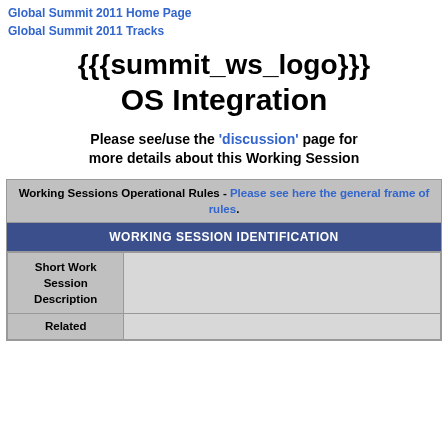Global Summit 2011 Home Page
Global Summit 2011 Tracks
{{{summit_ws_logo}}}
OS Integration
Please see/use the 'discussion' page for more details about this Working Session
| Working Sessions Operational Rules - Please see here the general frame of rules. | WORKING SESSION IDENTIFICATION | Short Work Session Description | Related |
| --- | --- | --- | --- |
|  |  |  |  |